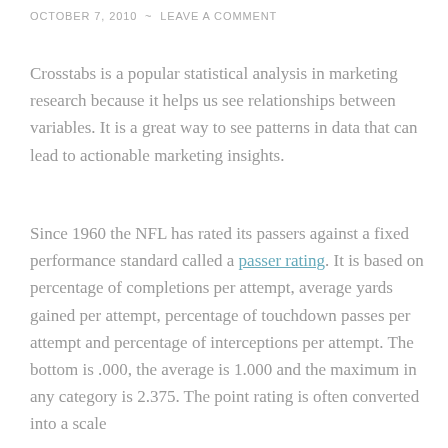OCTOBER 7, 2010  ~  LEAVE A COMMENT
Crosstabs is a popular statistical analysis in marketing research because it helps us see relationships between variables. It is a great way to see patterns in data that can lead to actionable marketing insights.
Since 1960 the NFL has rated its passers against a fixed performance standard called a passer rating. It is based on percentage of completions per attempt, average yards gained per attempt, percentage of touchdown passes per attempt and percentage of interceptions per attempt. The bottom is .000, the average is 1.000 and the maximum in any category is 2.375. The point rating is often converted into a scale